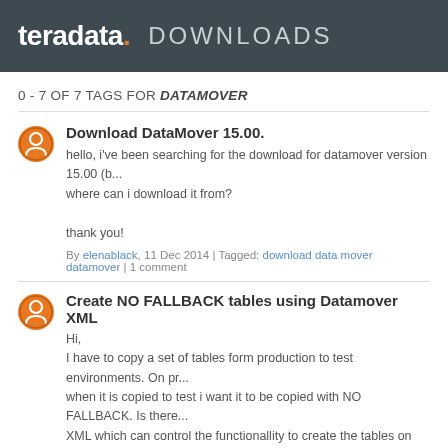teradata. DOWNLOADS
0 - 7 OF 7 TAGS FOR DATAMOVER
Download DataMover 15.00.
hello, i've been searching for the download for datamover version 15.00 (b... where can i download it from?

thank you!
By elenablack, 11 Dec 2014 | Tagged: download data mover datamover | 1 comment
Create NO FALLBACK tables using Datamover XML
Hi,
I have to copy a set of tables form production to test environments. On pr... when it is copied to test i want it to be copied with NO FALLBACK. Is there... XML which can control the functionallity to create the tables on test with o...
By Abdulaziz, 16 Jul 2013 | Tagged: datamover datamovement datamover test productio...
TERADATA DATA MOVER